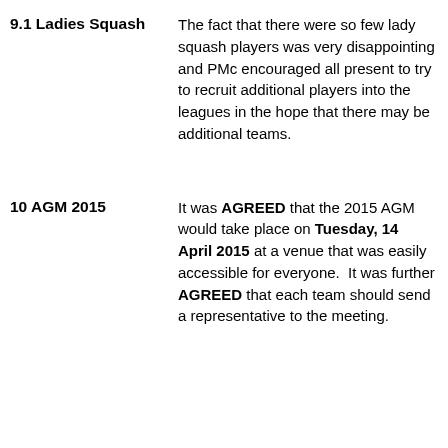9.1 Ladies Squash
The fact that there were so few lady squash players was very disappointing and PMc encouraged all present to try to recruit additional players into the leagues in the hope that there may be additional teams.
10 AGM 2015
It was AGREED that the 2015 AGM would take place on Tuesday, 14 April 2015 at a venue that was easily accessible for everyone. It was further AGREED that each team should send a representative to the meeting.